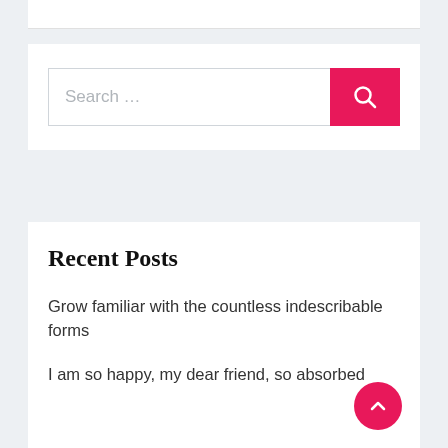Search ...
Recent Posts
Grow familiar with the countless indescribable forms
I am so happy, my dear friend, so absorbed